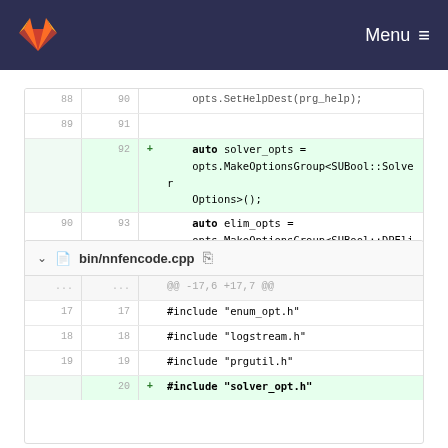Menu
[Figure (screenshot): GitLab code diff view showing two file diffs. First diff shows lines 88-95 with added line for auto solver_opts and context lines for elim_opts and clause_manip_opts. Second diff is for bin/nnfencode.cpp showing hunk header @@ -17,6 +17,7 @@ and includes for enum_opt.h, logstream.h, prgutil.h, and a partial added line.]